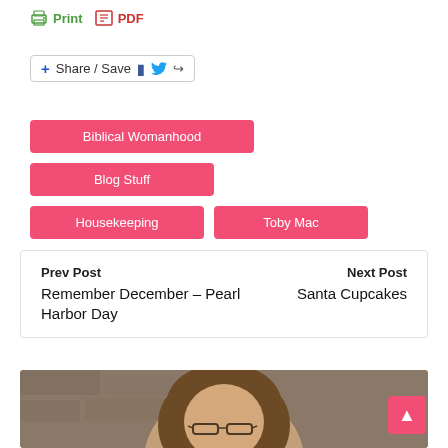Print  PDF
Share / Save
Biblical Womanhood
Blog Stuff
Housekeeping
Toby Mac
Prev Post
Remember December – Pearl Harbor Day
Next Post
Santa Cupcakes
[Figure (photo): Portrait photo of a woman with brown hair and glasses, in front of a stone wall background]